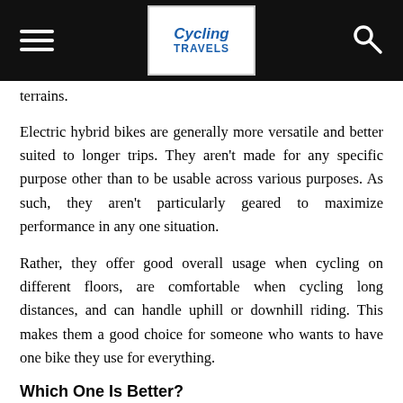Cycling Travels
terrains.
Electric hybrid bikes are generally more versatile and better suited to longer trips. They aren't made for any specific purpose other than to be usable across various purposes. As such, they aren't particularly geared to maximize performance in any one situation.
Rather, they offer good overall usage when cycling on different floors, are comfortable when cycling long distances, and can handle uphill or downhill riding. This makes them a good choice for someone who wants to have one bike they use for everything.
Which One Is Better?